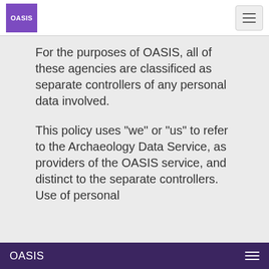OASIS
For the purposes of OASIS, all of these agencies are classificed as separate controllers of any personal data involved.
This policy uses "we" or "us" to refer to the Archaeology Data Service, as providers of the OASIS service, and distinct to the separate controllers. Use of personal
OASIS